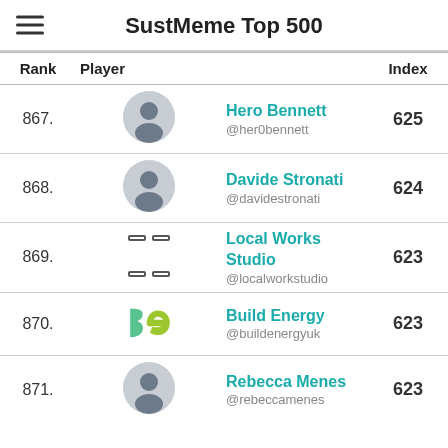SustMeme Top 500
| Rank | Player | Index |
| --- | --- | --- |
| 867. | Hero Bennett @her0bennett | 625 |
| 868. | Davide Stronati @davidestronati | 624 |
| 869. | Local Works Studio @localworkstudio | 623 |
| 870. | Build Energy @buildenergyuk | 623 |
| 871. | Rebecca Menes @rebeccamenes | 623 |